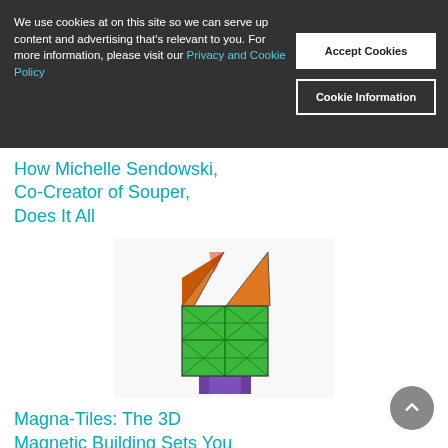We use cookies at on this site so we can serve up content and advertising that's relevant to you. For more information, please visit our Privacy and Cookie Policy
Accept Cookies
Cookie Information
How Michelle Sendowski, Co-Creator of Souper, Does It All
[Figure (photo): Colorful Magna-Tiles magnetic building set shaped like a castle with green square tiles and orange/red triangular roof pieces and purple/blue base pieces]
Magna-Tiles: The 3D Magnetic Building Sets You Keep Hearing About
[Figure (photo): Partial photo of a person, bottom portion visible, appearing to be a portrait/headshot]